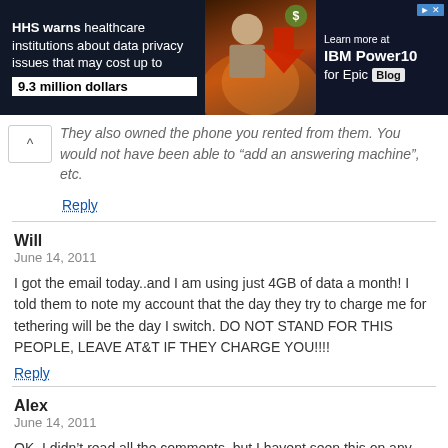[Figure (screenshot): Advertisement banner: HHS warns healthcare institutions about data privacy issues that may cost up to 9.3 million dollars. Learn more at IBM Power10 for Epic Blog.]
They also owned the phone you rented from them. You would not have been able to "add an answering machine", etc.
Reply
Will
June 14, 2011
I got the email today..and I am using just 4GB of data a month! I told them to note my account that the day they try to charge me for tethering will be the day I switch. DO NOT STAND FOR THIS PEOPLE, LEAVE AT&T IF THEY CHARGE YOU!!!!
Reply
Alex
June 14, 2011
OK, I didn't read all the comments, but I havent seen this on any other websites. AT&T says that cracking down on unauthorized use of tethering is for "fairness" in the customers. I assume this means fair for the